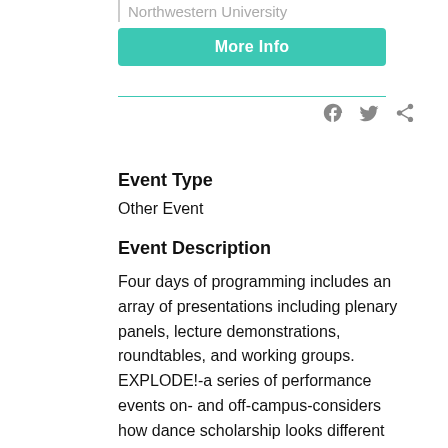Northwestern University
More Info
Event Type
Other Event
Event Description
Four days of programming includes an array of presentations including plenary panels, lecture demonstrations, roundtables, and working groups. EXPLODE!-a series of performance events on- and off-campus-considers how dance scholarship looks different when queer folks actively author spaces for gathering. Evening programs